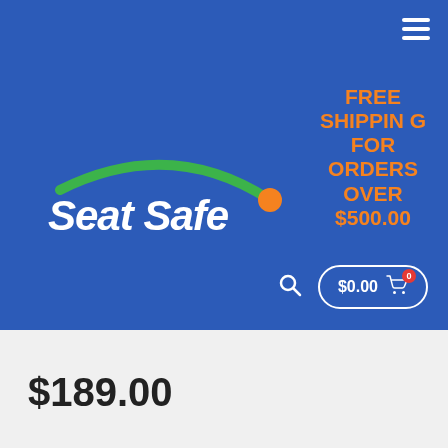[Figure (logo): Seat Safe logo with green swoosh arc and orange ball on blue background]
FREE SHIPPING FOR ORDERS OVER $500.00
$0.00 cart button with 0 badge
$189.00